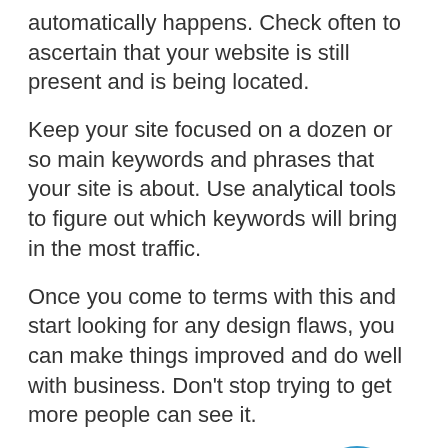automatically happens. Check often to ascertain that your website is still present and is being located.
Keep your site focused on a dozen or so main keywords and phrases that your site is about. Use analytical tools to figure out which keywords will bring in the most traffic.
Once you come to terms with this and start looking for any design flaws, you can make things improved and do well with business. Don’t stop trying to get more people can see it.
Focus on becoming an expert in just one area of SEO techniques at a time. There just isn’t enough time in the day for you to learn every technique, so learn one and exploit it extensively.
SEO is how you can help your customers find you.